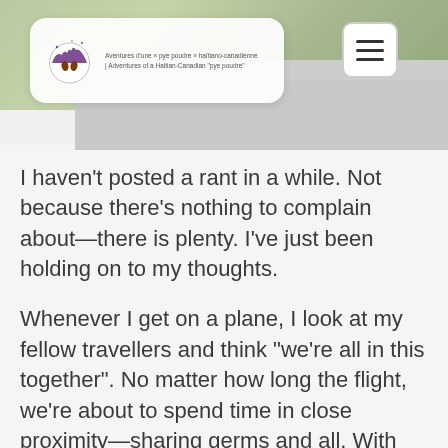[Figure (logo): Pieds Poudrés blog header with logo icon (circular emblem with a cityscape and footprints), a white card containing the logo and tagline in French and English, and a hamburger menu button. Background is a muted green/grey gradient.]
I haven't posted a rant in a while. Not because there's nothing to complain about—there is plenty. I've just been holding on to my thoughts.
Whenever I get on a plane, I look at my fellow travellers and think "we're all in this together". No matter how long the flight, we're about to spend time in close proximity—sharing germs and all. With that in mind, I try my best to not be bothersome. But